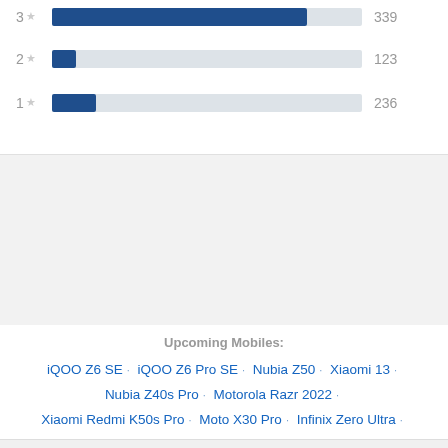[Figure (bar-chart): Star ratings bar chart (partial)]
Upcoming Mobiles:
iQOO Z6 SE · iQOO Z6 Pro SE · Nubia Z50 · Xiaomi 13 · Nubia Z40s Pro · Motorola Razr 2022 · Xiaomi Redmi K50s Pro · Moto X30 Pro · Infinix Zero Ultra ·